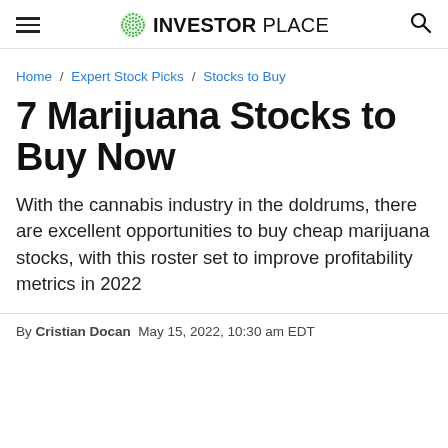INVESTORPLACE
Home / Expert Stock Picks / Stocks to Buy
7 Marijuana Stocks to Buy Now
With the cannabis industry in the doldrums, there are excellent opportunities to buy cheap marijuana stocks, with this roster set to improve profitability metrics in 2022
By Cristian Docan  May 15, 2022, 10:30 am EDT